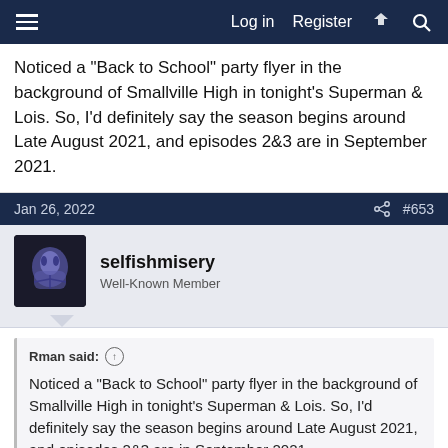Log in  Register
Noticed a "Back to School" party flyer in the background of Smallville High in tonight's Superman & Lois. So, I'd definitely say the season begins around Late August 2021, and episodes 2&3 are in September 2021.
Jan 26, 2022  #653
selfishmisery
Well-Known Member
Rman said:
Noticed a "Back to School" party flyer in the background of Smallville High in tonight's Superman & Lois. So, I'd definitely say the season begins around Late August 2021, and episodes 2&3 are in September 2021.
I don't know about that. School starts in early-to-mid August in some states.